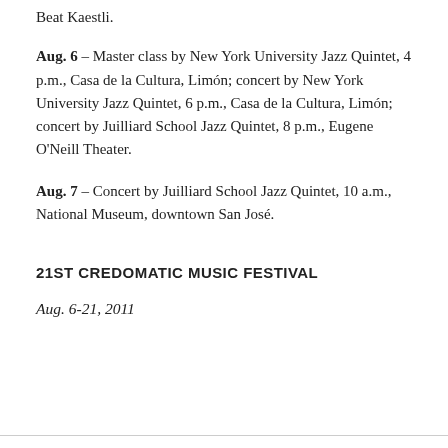Beat Kaestli.
Aug. 6 – Master class by New York University Jazz Quintet, 4 p.m., Casa de la Cultura, Limón; concert by New York University Jazz Quintet, 6 p.m., Casa de la Cultura, Limón; concert by Juilliard School Jazz Quintet, 8 p.m., Eugene O'Neill Theater.
Aug. 7 – Concert by Juilliard School Jazz Quintet, 10 a.m., National Museum, downtown San José.
21ST CREDOMATIC MUSIC FESTIVAL
Aug. 6-21, 2011